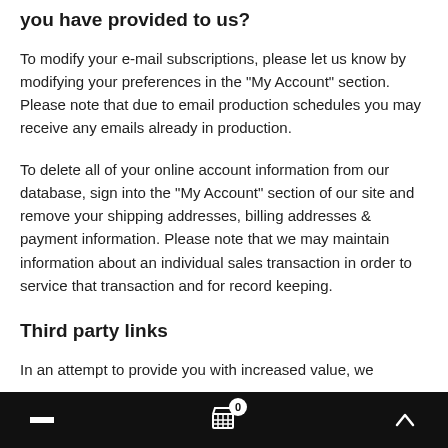you have provided to us?
To modify your e-mail subscriptions, please let us know by modifying your preferences in the "My Account" section. Please note that due to email production schedules you may receive any emails already in production.
To delete all of your online account information from our database, sign into the "My Account" section of our site and remove your shipping addresses, billing addresses & payment information. Please note that we may maintain information about an individual sales transaction in order to service that transaction and for record keeping.
Third party links
In an attempt to provide you with increased value, we